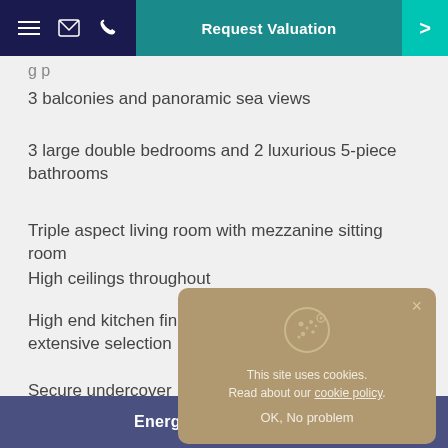Request Valuation
3 balconies and panoramic sea views
3 large double bedrooms and 2 luxurious 5-piece bathrooms
Triple aspect living room with mezzanine sitting room
High ceilings throughout
High end kitchen fin... extensive selection
Secure undercover ...
Use of a games roo...
Magnificent heated ...
Exclusively for the d...
[Figure (screenshot): Cookie consent overlay: This site uses cookies. Read about our cookie policy. OK, No problem.]
Energy Efficiency Rate